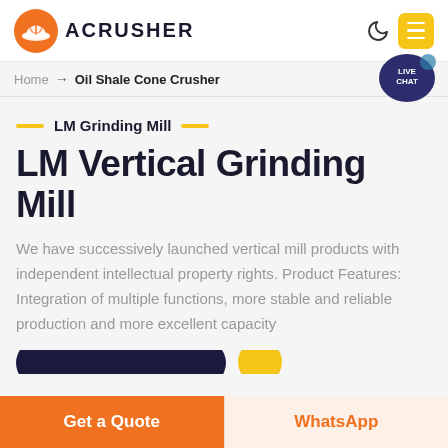[Figure (logo): Acrusher logo with orange hard-hat icon and bold text ACRUSHER]
Home → Oil Shale Cone Crusher
LM Grinding Mill
LM Vertical Grinding Mill
We have successively launched vertical mill products with independent intellectual property rights. Product Features: Integration of multiple functions, more stable and reliable production and more excellent capacity